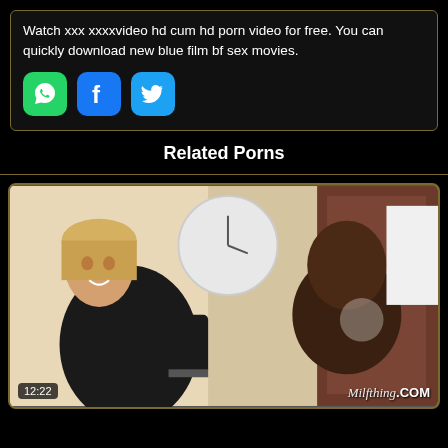Watch xxx xxxxvideo hd cum hd porn video for free. You can quickly download new blue film bf sex movies.
[Figure (infographic): Social share icons: WhatsApp (green), Facebook (blue), Twitter (light blue)]
Related Porns
[Figure (photo): Video thumbnail showing a blonde woman in a black dress. Duration badge shows 12:22. Watermark reads MilfThing.COM]